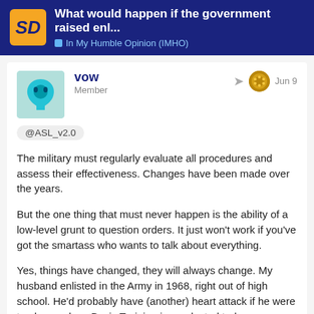What would happen if the government raised enl... | In My Humble Opinion (IMHO)
vow
Member
Jun 9
@ASL_v2.0
The military must regularly evaluate all procedures and assess their effectiveness. Changes have been made over the years.

But the one thing that must never happen is the ability of a low-level grunt to question orders. It just won't work if you've got the smartass who wants to talk about everything.

Yes, things have changed, they will always change. My husband enlisted in the Army in 1968, right out of high school. He'd probably have (another) heart attack if he were to observe how Basic Training is conducted today.
~VOW
7 / 65